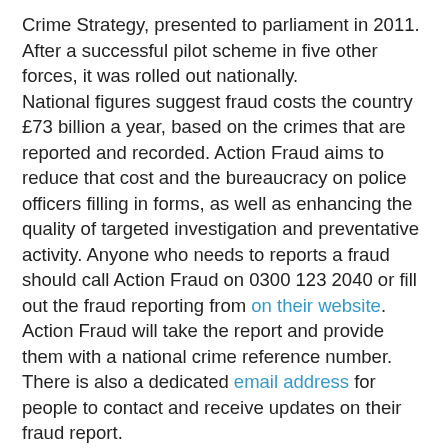Crime Strategy, presented to parliament in 2011. After a successful pilot scheme in five other forces, it was rolled out nationally. National figures suggest fraud costs the country £73 billion a year, based on the crimes that are reported and recorded. Action Fraud aims to reduce that cost and the bureaucracy on police officers filling in forms, as well as enhancing the quality of targeted investigation and preventative activity. Anyone who needs to reports a fraud should call Action Fraud on 0300 123 2040 or fill out the fraud reporting from on their website. Action Fraud will take the report and provide them with a national crime reference number. There is also a dedicated email address for people to contact and receive updates on their fraud report. Of the thousands of reports Action Fraud has taken, about fifteen per cent actually result in a fraud crime being recorded. However, all information gathered is provided daily to the National Fraud Intelligence Bureau (NFIB) at the City of London Police where it is analysed, alongside other information reported from government departments, financial institutions, and other large organisations. The NFIB will then send any crimes where there is